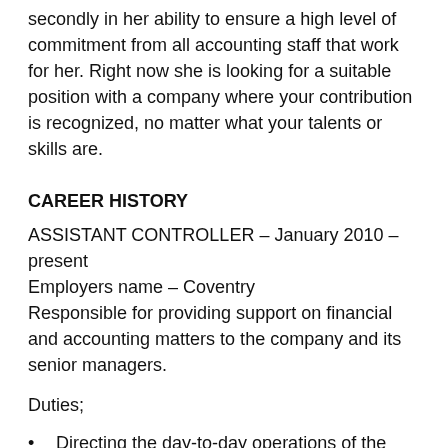secondly in her ability to ensure a high level of commitment from all accounting staff that work for her. Right now she is looking for a suitable position with a company where your contribution is recognized, no matter what your talents or skills are.
CAREER HISTORY
ASSISTANT CONTROLLER – January 2010 – present
Employers name – Coventry
Responsible for providing support on financial and accounting matters to the company and its senior managers.
Duties;
Directing the day-to-day operations of the